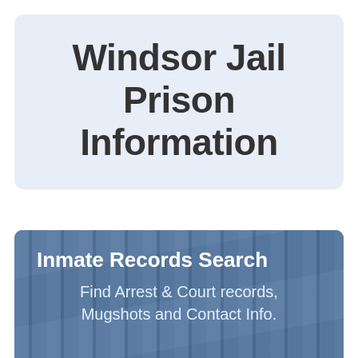Windsor Jail Prison Information
[Figure (photo): Banner image with blue-tinted jail bars/prison fence background, containing text overlay for Inmate Records Search service]
Inmate Records Search
Find Arrest & Court records, Mugshots and Contact Info.